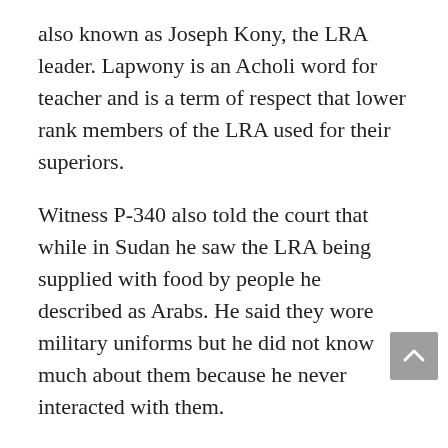also known as Joseph Kony, the LRA leader. Lapwony is an Acholi word for teacher and is a term of respect that lower rank members of the LRA used for their superiors.
Witness P-340 also told the court that while in Sudan he saw the LRA being supplied with food by people he described as Arabs. He said they wore military uniforms but he did not know much about them because he never interacted with them.
“Do you remember the year when you came back to Uganda?” asked trial lawyer Paul Bradfield.
“Well, Sir, in the bush we were not very clear